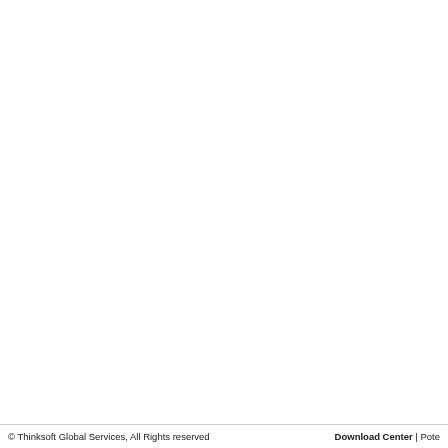© Thinksoft Global Services, All Rights reserved    Download Center  |  Pote